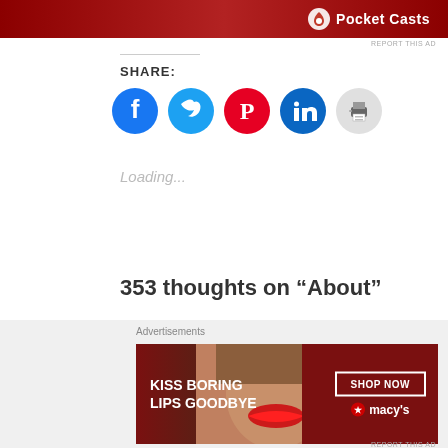[Figure (other): Pocket Casts advertisement banner in dark red]
REPORT THIS AD
SHARE:
[Figure (other): Social sharing icons: Facebook, Twitter, Pinterest, LinkedIn, Print]
Loading...
353 thoughts on “About”
← Older Comments
[Figure (other): Macy's advertisement banner: KISS BORING LIPS GOODBYE, SHOP NOW]
REPORT THIS AD